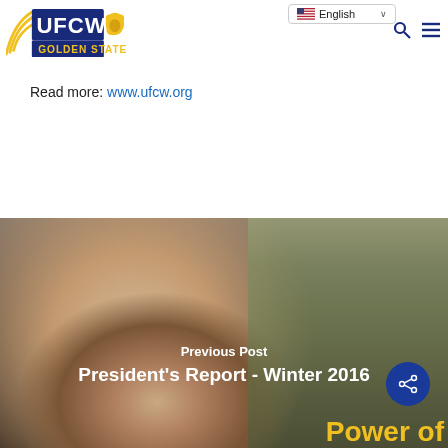[Figure (logo): UFCW 8 Golden State union logo with blue and gold colors and California bear]
[Figure (screenshot): English language selector dropdown in top right header]
Read more: www.ufcw.org
[Figure (photo): Photo of smiling young woman in a grocery store setting with product shelves in background. Overlaid text reads 'Previous Post' and 'President's Report - Winter 2016'. A share icon button appears in the bottom right. Partial yellow text visible at bottom reading 'Power of'.]